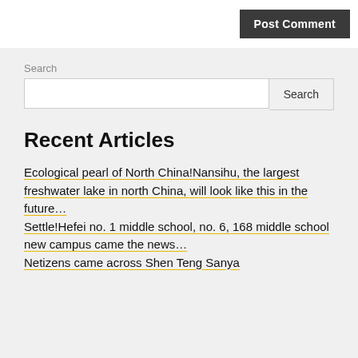Post Comment
Search
Recent Articles
Ecological pearl of North China!Nansihu, the largest freshwater lake in north China, will look like this in the future…
Settle!Hefei no. 1 middle school, no. 6, 168 middle school new campus came the news…
Netizens came across Shen Teng Sanya